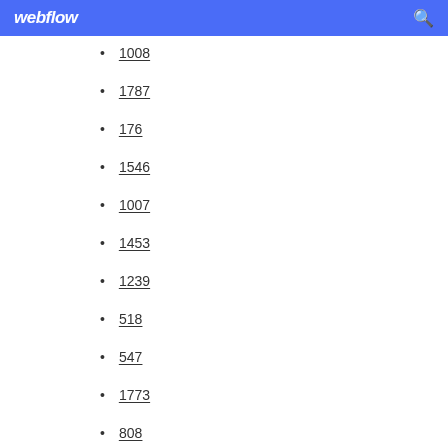webflow
1008
1787
176
1546
1007
1453
1239
518
547
1773
808
1082